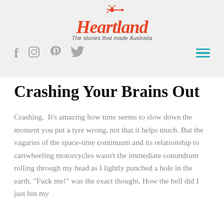[Figure (logo): Heartland logo with windmill icon and tagline 'The stories that made Australia']
f  ☐  p  bird-icon    ≡
Crashing Your Brains Out
Crashing.  It's amazing how time seems to slow down the moment you put a tyre wrong, not that it helps much. But the vagaries of the space-time continuum and its relationship to cartwheeling motorcycles wasn't the immediate conundrum rolling through my head as I lightly punched a hole in the earth. "Fuck me!" was the exact thought. How the hell did I just bin my